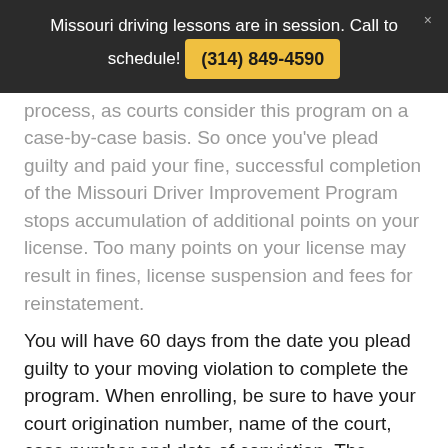Missouri driving lessons are in session. Call to schedule! (314) 849-4590
process, as courts consider this program on a case-by-case basis. So once you've plead guilty and paid your fine, successful completion of the Missouri Driver Improvement Program stops accumulation of additional points on your license. Too many points on your license may result in fines, license suspension and fees for reinstatement.
You will have 60 days from the date you plead guilty to your moving violation to complete the program. When enrolling, be sure to have your court origination number, name of the court, case number and date of conviction. The Missouri DIP can be completed online or in person and consists of a minimum of eight hours of instruction.